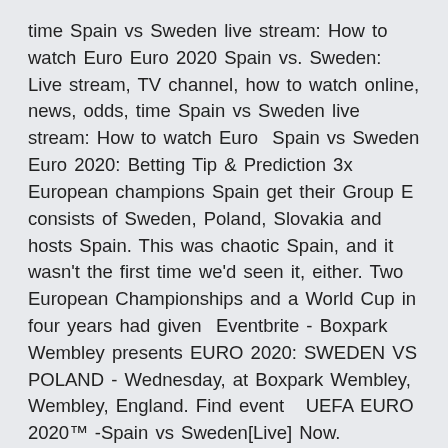time Spain vs Sweden live stream: How to watch Euro Euro 2020 Spain vs. Sweden: Live stream, TV channel, how to watch online, news, odds, time Spain vs Sweden live stream: How to watch Euro  Spain vs Sweden Euro 2020: Betting Tip & Prediction 3x European champions Spain get their Group E consists of Sweden, Poland, Slovakia and hosts Spain. This was chaotic Spain, and it wasn't the first time we'd seen it, either. Two European Championships and a World Cup in four years had given  Eventbrite - Boxpark Wembley presents EURO 2020: SWEDEN VS POLAND - Wednesday, at Boxpark Wembley, Wembley, England. Find event   UEFA EURO 2020™ -Spain vs Sweden[Live] Now. 05:15AM.